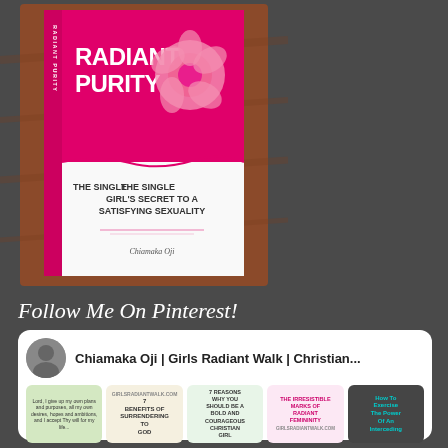[Figure (photo): Book cover of 'Radiant Purity: The Single Girl's Secret to a Satisfying Sexuality' by Chiamaka Oji. Hot pink cover with white rose, displayed at an angle on a brown leather background.]
Follow Me On Pinterest!
[Figure (screenshot): Pinterest widget showing profile 'Chiamaka Oji | Girls Radiant Walk | Christian...' with a circular profile photo and five pin thumbnails below including: a prayer text pin, '7 Benefits of Surrendering to God', '7 Reasons Why You Should Be a Bold and Courageous Christian Girl', 'The Irresistible Marks of Radiant Femininity', and 'How To Exercise The Power Of An Interceding']